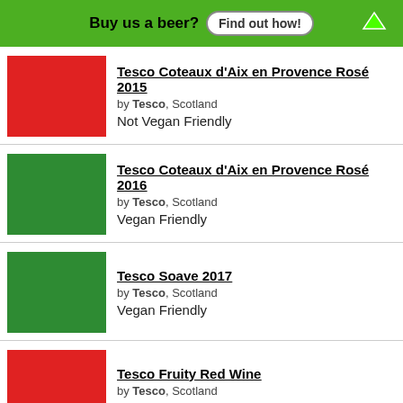Buy us a beer? Find out how!
Tesco Coteaux d'Aix en Provence Rosé 2015 | by Tesco, Scotland | Not Vegan Friendly
Tesco Coteaux d'Aix en Provence Rosé 2016 | by Tesco, Scotland | Vegan Friendly
Tesco Soave 2017 | by Tesco, Scotland | Vegan Friendly
Tesco Fruity Red Wine | by Tesco, Scotland | Not Vegan Friendly
Please Drink Responsibly
Vegan Beer | Vegan Wine | Vegan Liquor
Contents copyright © 2022 Thrust Labs. All rights reserved.
Contact Us | Terms of Use/Privacy Policy